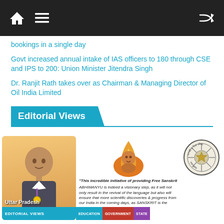Navigation bar with home, menu, and shuffle icons
bookings in a single day
Govt increased annual intake of IAS officers to 180 through CSE and IPS to 200: Union Minister Jitendra Singh
Dr. Ranjit Rath takes over as Chairman & Managing Director of Oil India Limited
Editorial Views
[Figure (photo): Photo of a young man with a medal, with text labels: EDITORIAL VIEWS, and bottom title 'Uttar Pradesh']
[Figure (photo): Image of a person with flame/saffron background, with quote text about Free Sanskrit initiative, tags: EDUCATION, GOVERNMENT, STATE]
[Figure (logo): Circular seal/logo of Madhyamik Shiksha Parishad, Uttar Pradesh]
"This incredible initiative of providing Free Sanskrit
ABHIMANYU is indeed a visionary step, as it will not only result in the revival of the language but also will ensure that more scientific discoveries & progress from our India in the coming days, as SANSKRIT is the